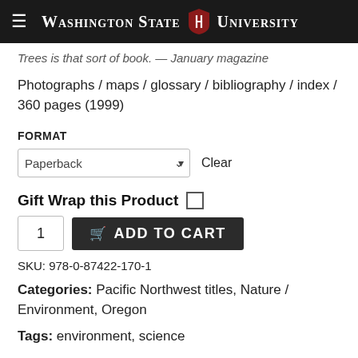Washington State University
Trees is that sort of book. — January magazine
Photographs / maps / glossary / bibliography / index / 360 pages (1999)
FORMAT
Paperback   Clear
Gift Wrap this Product
1   ADD TO CART
SKU: 978-0-87422-170-1
Categories: Pacific Northwest titles, Nature / Environment, Oregon
Tags: environment, science